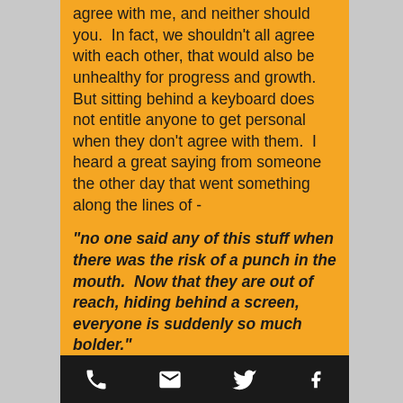agree with me, and neither should you.  In fact, we shouldn't all agree with each other, that would also be unhealthy for progress and growth. But sitting behind a keyboard does not entitle anyone to get personal when they don't agree with them.  I heard a great saying from someone the other day that went something along the lines of -
“no one said any of this stuff when there was the risk of a punch in the mouth.  Now that they are out of reach, hiding behind a screen, everyone is suddenly so much bolder.”
[phone icon] [email icon] [twitter icon] [facebook icon]